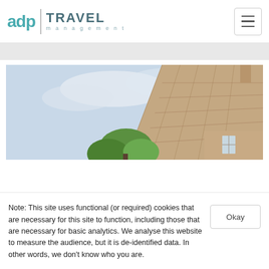[Figure (logo): ADP Travel Management logo with teal/grey typography and divider line]
[Figure (photo): Photograph of a stone cottage rooftop with green trees and blue sky]
Note: This site uses functional (or required) cookies that are necessary for this site to function, including those that are necessary for basic analytics. We analyse this website to measure the audience, but it is de-identified data. In other words, we don't know who you are.